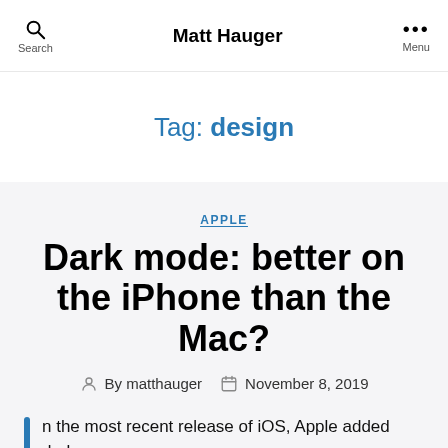Matt Hauger
Tag: design
APPLE
Dark mode: better on the iPhone than the Mac?
By matthauger   November 8, 2019
n the most recent release of iOS, Apple added dark